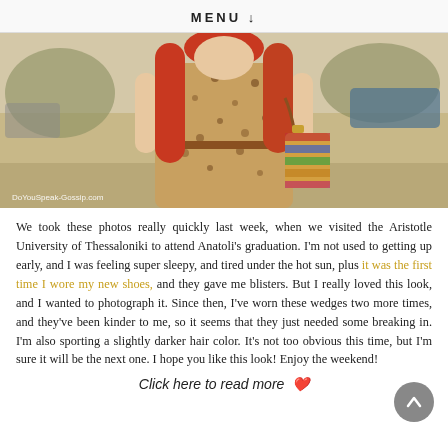MENU ↓
[Figure (photo): A young woman with long red hair wearing a brown leopard-print dress with a brown belt, holding a colorful woven bag, standing outdoors. Watermark reads DoYouSpeak-Gossip.com]
We took these photos really quickly last week, when we visited the Aristotle University of Thessaloniki to attend Anatoli's graduation. I'm not used to getting up early, and I was feeling super sleepy, and tired under the hot sun, plus it was the first time I wore my new shoes, and they gave me blisters. But I really loved this look, and I wanted to photograph it. Since then, I've worn these wedges two more times, and they've been kinder to me, so it seems that they just needed some breaking in. I'm also sporting a slightly darker hair color. It's not too obvious this time, but I'm sure it will be the next one. I hope you like this look! Enjoy the weekend!
Click here to read more...